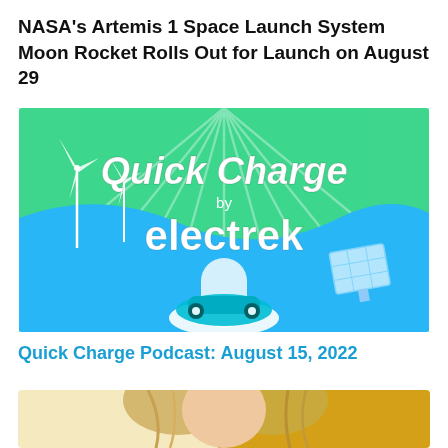NASA's Artemis 1 Space Launch System Moon Rocket Rolls Out for Launch on August 29
[Figure (illustration): Quick Charge by electrek podcast cover art — green and blue background with wind turbines, an electric car on a road, and a solar panel. White bold italic text reads 'Quick Charge by electrek'.]
Quick Charge Podcast: August 15, 2022
[Figure (photo): Partial photo of a person with blonde hair against a yellow background, cropped at bottom of page.]